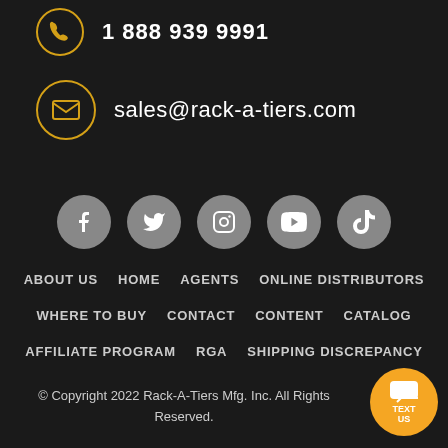1 888 939 9991
sales@rack-a-tiers.com
[Figure (infographic): Row of 5 social media icon buttons (Facebook, Twitter, Instagram, YouTube, TikTok) in gray circles]
ABOUT US   HOME   AGENTS   ONLINE DISTRIBUTORS
WHERE TO BUY   CONTACT   CONTENT   CATALOG
AFFILIATE PROGRAM   RGA   SHIPPING DISCREPANCY
© Copyright 2022 Rack-A-Tiers Mfg. Inc. All Rights Reserved.